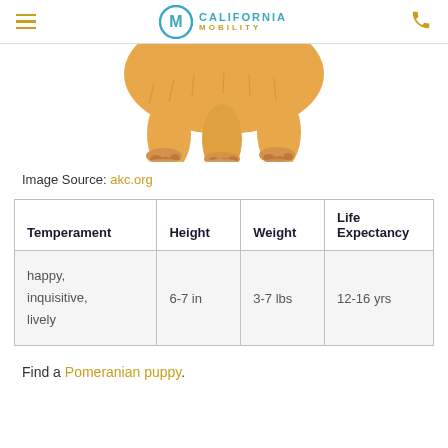California Mobility — navigation header with logo and phone icon
[Figure (photo): Close-up photo of a fluffy Pomeranian puppy legs and paws on white background, cropped from above]
Image Source: akc.org
| Temperament | Height | Weight | Life Expectancy |
| --- | --- | --- | --- |
| happy, inquisitive, lively | 6-7 in | 3-7 lbs | 12-16 yrs |
Find a Pomeranian puppy.